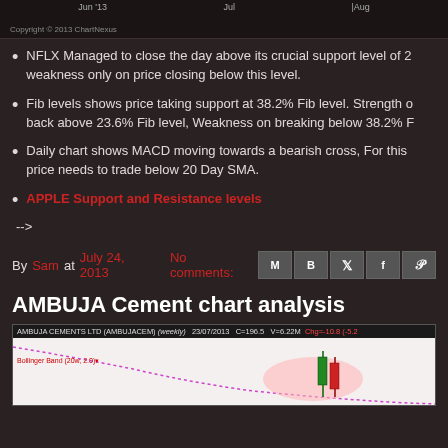[Figure (screenshot): Top portion of a stock chart with date labels Jun 13, Jul, Aug and ChartNexus copyright notice]
NFLX Managed to close the day above its crucial support level of 2... weakness only on price closing below this level.
Fib levels shows price taking support at 38.2% Fib level. Strength on back above 23.6% Fib level, Weakness on breaking below 38.2% F...
Daily chart shows MACD moving towards a bearish cross, For this... price needs to trade below 20 Day SMA.
APPLE Support and Resistance levels
-->
By Sam at July 24, 2013   No comments:
AMBUJA Cement chart analysis
[Figure (screenshot): AMBUJA CEMENTS LTD (AMBUJACEM) weekly chart showing Bollinger Band (20w, 2.0), candlesticks with pink ellipse highlight and dotted band line, dated 23/07/2013, C=196.5, V=6.22M, Chg=-10.8]